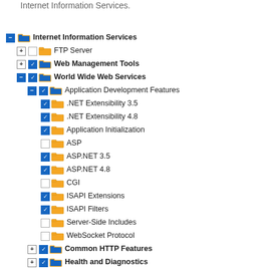Internet Information Services.
[Figure (screenshot): Windows Features tree view showing Internet Information Services with sub-nodes: FTP Server, Web Management Tools, World Wide Web Services (expanded to show Application Development Features with checked items .NET Extensibility 3.5, .NET Extensibility 4.8, Application Initialization, ASP.NET 3.5, ASP.NET 4.8, ISAPI Extensions, ISAPI Filters; and unchecked items ASP, CGI, Server-Side Includes, WebSocket Protocol), Common HTTP Features, Health and Diagnostics, Performance Features, Security.]